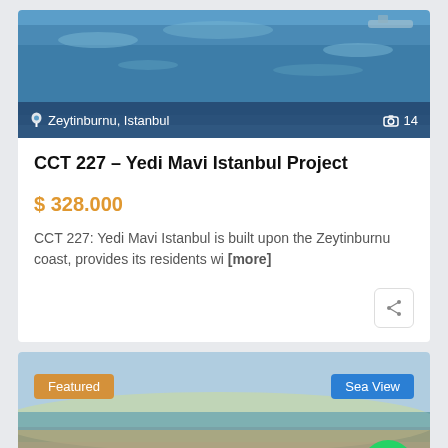[Figure (photo): Aerial photo of Zeytinburnu coastline waterfront with blue sea and buildings overlay]
Zeytinburnu, Istanbul  📷 14
CCT 227 – Yedi Mavi Istanbul Project
$ 328.000
CCT 227: Yedi Mavi Istanbul is built upon the Zeytinburnu coast, provides its residents wi [more]
[Figure (photo): Aerial view of a residential development near coastline with 'Featured' and 'Sea View' badges and WhatsApp button]